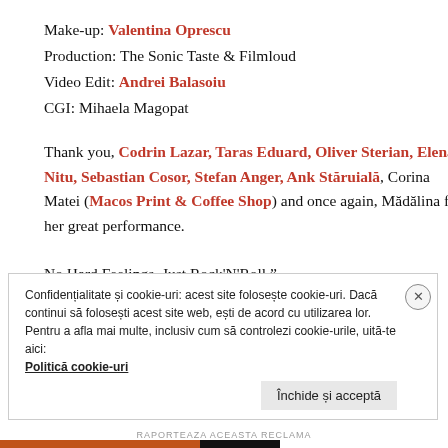Make-up: Valentina Oprescu
Production: The Sonic Taste & Filmloud
Video Edit: Andrei Balasoiu
CGI: Mihaela Magopat
Thank you, Codrin Lazar, Taras Eduard, Oliver Sterian, Elena Nitu, Sebastian Cosor, Stefan Anger, Ank Stăruială, Corina Matei (Macos Print & Coffee Shop) and once again, Mădălina for her great performance.
No Hard Feelings, Just Rock'N'Roll."
Confidențialitate și cookie-uri: acest site folosește cookie-uri. Dacă continui să folosești acest site web, ești de acord cu utilizarea lor.
Pentru a afla mai multe, inclusiv cum să controlezi cookie-urile, uită-te aici:
Politică cookie-uri
Închide și acceptă